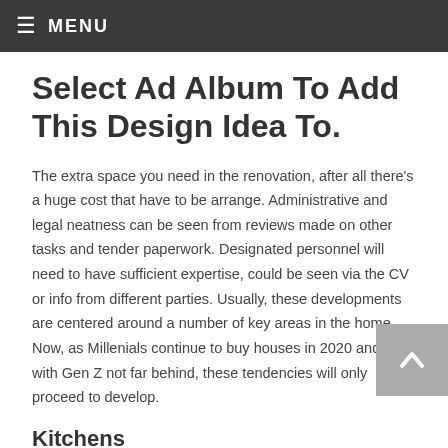≡ MENU
Select Ad Album To Add This Design Idea To.
The extra space you need in the renovation, after all there's a huge cost that have to be arrange. Administrative and legal neatness can be seen from reviews made on other tasks and tender paperwork. Designated personnel will need to have sufficient expertise, could be seen via the CV or info from different parties. Usually, these developments are centered around a number of key areas in the home. Now, as Millenials continue to buy houses in 2020 and past, with Gen Z not far behind, these tendencies will only proceed to develop.
Kitchens